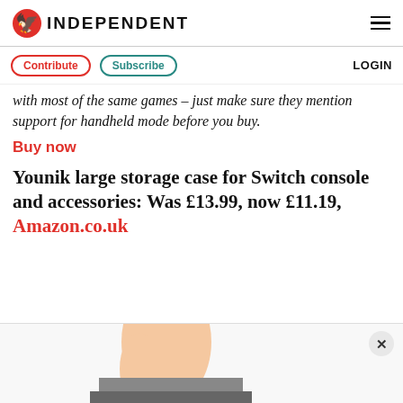INDEPENDENT
Contribute | Subscribe | LOGIN
with most of the same games – just make sure they mention support for handheld mode before you buy.
Buy now
Younik large storage case for Switch console and accessories: Was £13.99, now £11.19, Amazon.co.uk
[Figure (photo): Bottom portion of advertisement image showing a hand/foot area, partially cropped at the bottom of the page with an X close button]